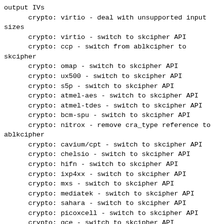output IVs
        crypto: virtio - deal with unsupported input sizes
        crypto: virtio - switch to skcipher API
        crypto: ccp - switch from ablkcipher to skcipher
        crypto: omap - switch to skcipher API
        crypto: ux500 - switch to skcipher API
        crypto: s5p - switch to skcipher API
        crypto: atmel-aes - switch to skcipher API
        crypto: atmel-tdes - switch to skcipher API
        crypto: bcm-spu - switch to skcipher API
        crypto: nitrox - remove cra_type reference to ablkcipher
        crypto: cavium/cpt - switch to skcipher API
        crypto: chelsio - switch to skcipher API
        crypto: hifn - switch to skcipher API
        crypto: ixp4xx - switch to skcipher API
        crypto: mxs - switch to skcipher API
        crypto: mediatek - switch to skcipher API
        crypto: sahara - switch to skcipher API
        crypto: picoxcell - switch to skcipher API
        crypto: qce - switch to skcipher API
        crypto: stm32 - switch to skcipher API
        crypto: niagara2 - switch to skcipher API
        crypto: rockchip - switch to skcipher API
        crypto: talitos - switch to skcipher API
        crypto: qat - switch to skcipher API
        crypto: marvell/cesa - rename blkcipher to skcipher
        crypto: nx - remove stale comment referring to